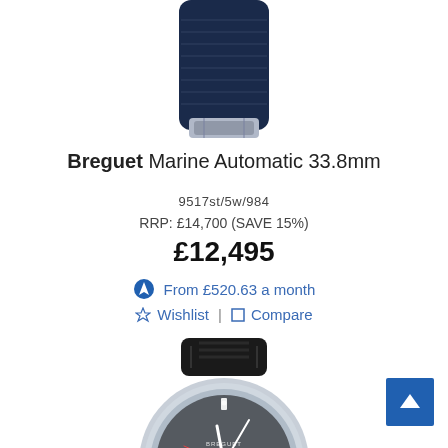[Figure (photo): Partial view of a Breguet watch showing dark navy blue leather strap with silver clasp]
Breguet Marine Automatic 33.8mm
9517st/5w/984
RRP: £14,700 (SAVE 15%)
£12,495
From £520.63 a month
☆ Wishlist | □ Compare
[Figure (photo): Breguet Marine Automatic watch with dark grey dial, Roman numerals, date window, and black rubber strap]